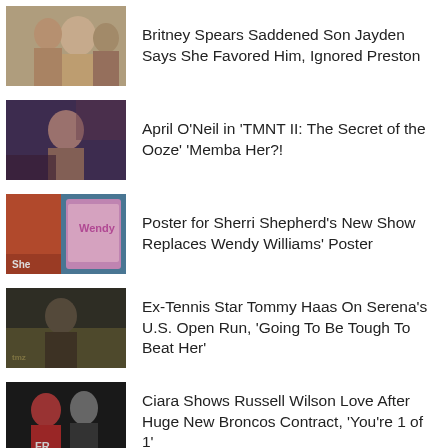Britney Spears Saddened Son Jayden Says She Favored Him, Ignored Preston
April O'Neil in 'TMNT II: The Secret of the Ooze' 'Memba Her?!
Poster for Sherri Shepherd's New Show Replaces Wendy Williams' Poster
Ex-Tennis Star Tommy Haas On Serena's U.S. Open Run, 'Going To Be Tough To Beat Her'
Ciara Shows Russell Wilson Love After Huge New Broncos Contract, 'You're 1 of 1'